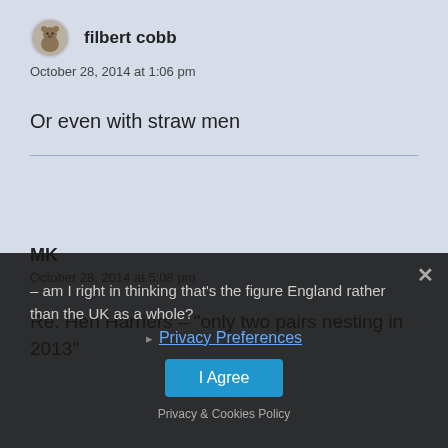filbert cobb
October 28, 2014 at 1:06 pm
Or even with straw men
MK
October 28, 2014 at 5:08 pm
Re. Hen Harriers – “only two pairs nesting in 2013”
– am I right in thinking that’s the figure England rather than the UK as a whole?
Privacy Preferences
I Agree
Privacy & Cookies Policy